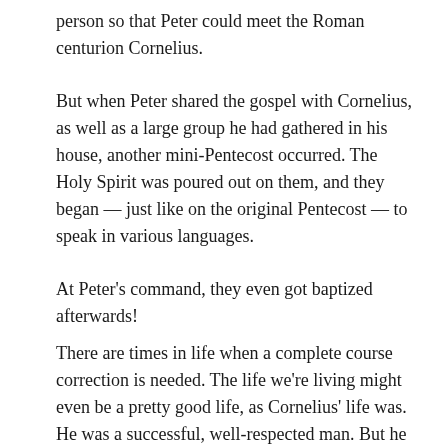person so that Peter could meet the Roman centurion Cornelius.
But when Peter shared the gospel with Cornelius, as well as a large group he had gathered in his house, another mini-Pentecost occurred. The Holy Spirit was poured out on them, and they began — just like on the original Pentecost — to speak in various languages.
At Peter's command, they even got baptized afterwards!
There are times in life when a complete course correction is needed. The life we're living might even be a pretty good life, as Cornelius' life was. He was a successful, well-respected man. But he still sensed that he needed to change his mind when it came to God. He wanted to know the true God. And